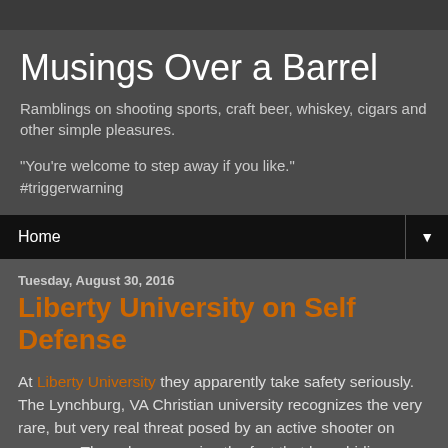Musings Over a Barrel
Ramblings on shooting sports, craft beer, whiskey, cigars and other simple pleasures.
"You're welcome to step away if you like." #triggerwarning
Home
Tuesday, August 30, 2016
Liberty University on Self Defense
At Liberty University they apparently take safety seriously. The Lynchburg, VA Christian university recognizes the very rare, but very real threat posed by an active shooter on campus. They also recognize the fact that law-abiding armed citizens might be the first responders in such a situation. Armed faculty or students may indeed be the only ones on